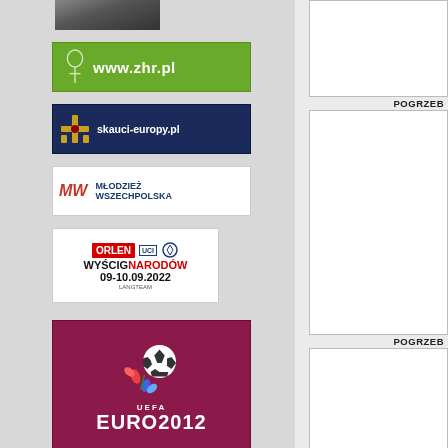[Figure (photo): Partial photo of a person's hands at the top of the left column]
[Figure (logo): Green banner with white text reading www.zhr.pl and a scout emblem]
[Figure (logo): Dark blue banner with cross icon and text skauci-europy.pl]
[Figure (logo): White banner with red MW logo and blue text MŁODZIEŻ WSZECHPOLSKA]
[Figure (logo): White banner: ORLEN UCI cycling race WYŚCIG NARODÓW 09-10.09.2022 LANGTEAM]
[Figure (logo): UEFA EURO 2012 logo on pink/magenta background with football and floral design]
POGRZEB
POGRZEB